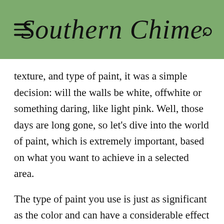Southern Chime
texture, and type of paint, it was a simple decision: will the walls be white, offwhite or something daring, like light pink. Well, those days are long gone, so let's dive into the world of paint, which is extremely important, based on what you want to achieve in a selected area.
The type of paint you use is just as significant as the color and can have a considerable effect on the character of your room. Water-based paints are the most popular since they are easy to use. They have low levels of toxic emissions,